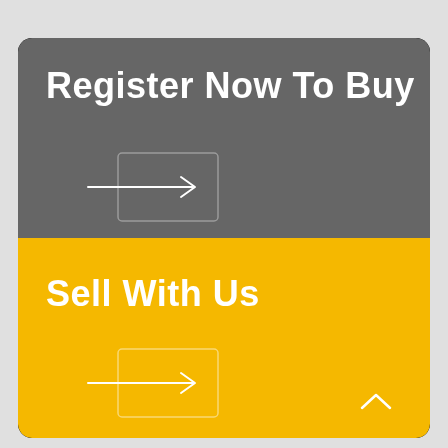Register Now To Buy
[Figure (illustration): Arrow with rectangle button icon on dark grey background]
Sell With Us
[Figure (illustration): Arrow with rectangle button icon on yellow background]
[Figure (illustration): Chevron up arrow icon]